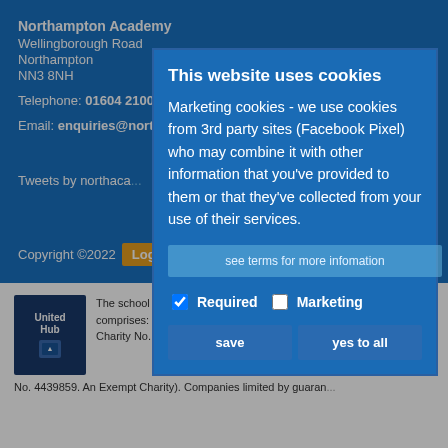Northampton Academy
Wellingborough Road
Northampton
NN3 8NH
Telephone: 01604 210017
Email: enquiries@northampton-academy.org
Tweets by northaca...
Copyright ©2022  Log
[Figure (logo): United Hub logo - dark blue square with white text 'United Hub' and a blue icon below]
The school is part of United Learning. United Learning comprises: UCST (Registered in England No. 2780748. Charity No. 1016538) and ULT (Registered in England No. 4439859. An Exempt Charity). Companies limited by guarantee. VAT number: 834 8515 12
This website uses cookies
Marketing cookies - we use cookies from 3rd party sites (Facebook Pixel) who may combine it with other information that you've provided to them or that they've collected from your use of their services.
see terms for more infomation
Required   Marketing
save   yes to all